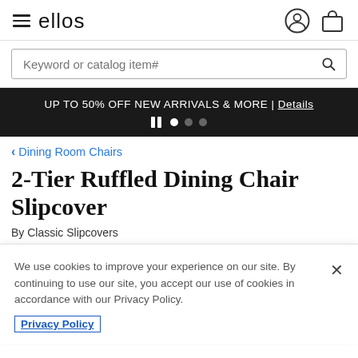ellos
Keyword or catalog item#
UP TO 50% OFF NEW ARRIVALS & MORE | Details
< Dining Room Chairs
2-Tier Ruffled Dining Chair Slipcover
By Classic Slipcovers
We use cookies to improve your experience on our site. By continuing to use our site, you accept our use of cookies in accordance with our Privacy Policy.
Privacy Policy